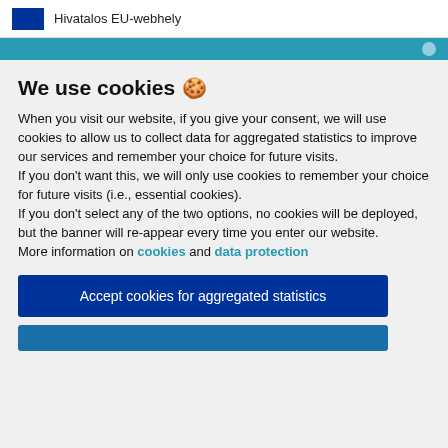Hivatalos EU-webhely
We use cookies 🍪
When you visit our website, if you give your consent, we will use cookies to allow us to collect data for aggregated statistics to improve our services and remember your choice for future visits.
If you don't want this, we will only use cookies to remember your choice for future visits (i.e., essential cookies).
If you don't select any of the two options, no cookies will be deployed, but the banner will re-appear every time you enter our website.
More information on cookies and data protection
Accept cookies for aggregated statistics